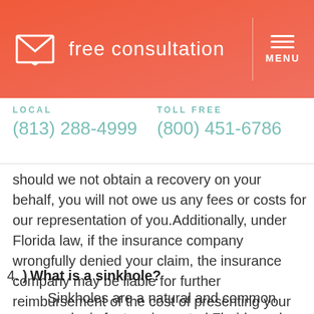free consultation  MENU
LOCAL
(813) 288-4999
TOLL FREE
(800) 451-6786
should we not obtain a recovery on your behalf, you will not owe us any fees or costs for our representation of you.Additionally, under Florida law, if the insurance company wrongfully denied your claim, the insurance company may be liable for further reimbursement of the cost of presenting your claim.
4.) What is a sinkhole? Sinkholes are a natural and common geologic feature in central Florida and